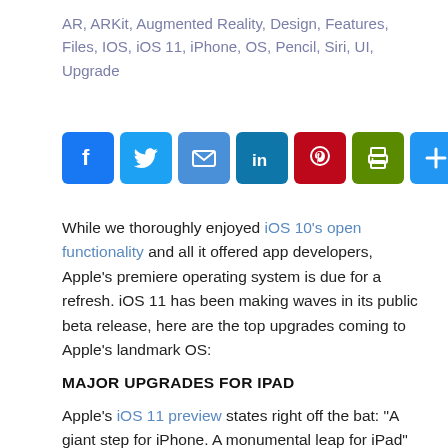AR, ARKit, Augmented Reality, Design, Features, Files, IOS, iOS 11, iPhone, OS, Pencil, Siri, UI, Upgrade
[Figure (other): Social sharing icon buttons: Facebook, Twitter, Email, LinkedIn, Pinterest, Print, Share (plus icon)]
While we thoroughly enjoyed iOS 10’s open functionality and all it offered app developers, Apple’s premiere operating system is due for a refresh. iOS 11 has been making waves in its public beta release, here are the top upgrades coming to Apple’s landmark OS:
MAJOR UPGRADES FOR IPAD
Apple’s iOS 11 preview states right off the bat: “A giant step for iPhone. A monumental leap for iPad”